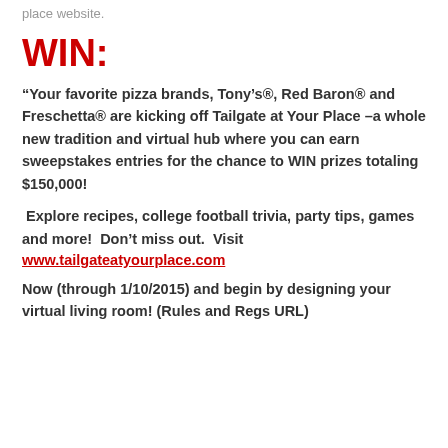place website.
WIN:
“Your favorite pizza brands, Tony’s®, Red Baron® and Freschetta® are kicking off Tailgate at Your Place –a whole new tradition and virtual hub where you can earn sweepstakes entries for the chance to WIN prizes totaling $150,000!
Explore recipes, college football trivia, party tips, games and more!  Don’t miss out.  Visit www.tailgateatyourplace.com
Now (through 1/10/2015) and begin by designing your virtual living room! (Rules and Regs URL)